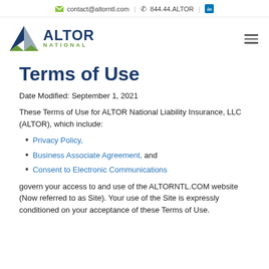contact@altorntl.com | 844.44.ALTOR | in
[Figure (logo): Altor National logo with triangle icon and company name]
Terms of Use
Date Modified: September 1, 2021
These Terms of Use for ALTOR National Liability Insurance, LLC (ALTOR), which include:
Privacy Policy,
Business Associate Agreement, and
Consent to Electronic Communications
govern your access to and use of the ALTORNTL.COM website (Now referred to as Site). Your use of the Site is expressly conditioned on your acceptance of these Terms of Use.